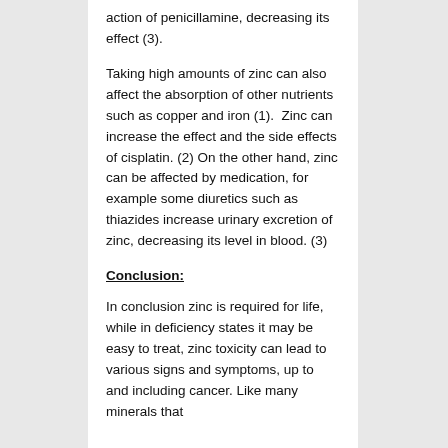action of penicillamine, decreasing its effect (3).
Taking high amounts of zinc can also affect the absorption of other nutrients such as copper and iron (1).  Zinc can increase the effect and the side effects of cisplatin. (2) On the other hand, zinc can be affected by medication, for example some diuretics such as thiazides increase urinary excretion of zinc, decreasing its level in blood. (3)
Conclusion:
In conclusion zinc is required for life, while in deficiency states it may be easy to treat, zinc toxicity can lead to various signs and symptoms, up to and including cancer. Like many minerals that